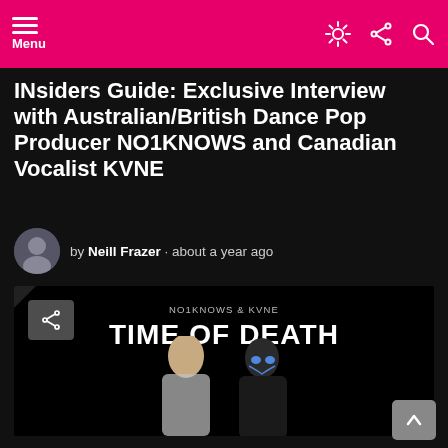Menu
INsiders Guide: Exclusive Interview with Australian/British Dance Pop Producer NO1KNOWS and Canadian Vocalist KVNE
by Neill Frazer · about a year ago
[Figure (photo): Promotional image for NO1KNOWS & KVNE single 'TIME OF DEATH' showing two people against a black background, one with a glowing mask]
NO1KNOWS and KVNE will take you for a ride, with their new single Time of Death, released via Blanco y Negro on all streaming platforms. Characterized by his catchy vocal chops,